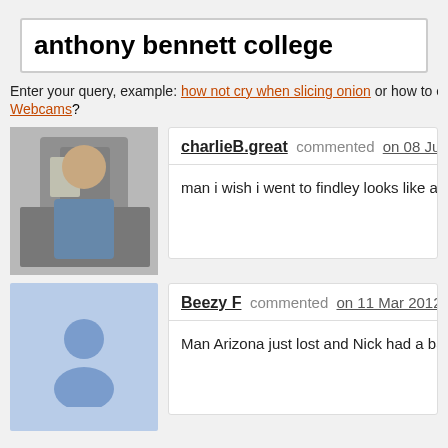anthony bennett college
Enter your query, example: how not cry when slicing onion or how to enter Webcams?
charlieB.great commented on 08 Jun 201
man i wish i went to findley looks like a graet sch
Beezy F commented on 11 Mar 2012
Man Arizona just lost and Nick had a bad game,
Anthony Bennett Monster Slam @ UNLV
Dunk Contest @ UNLV www.shoottokillmedia.com